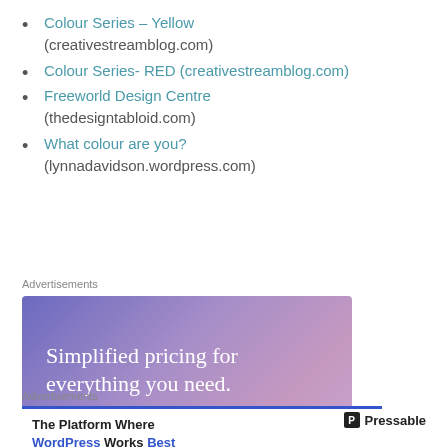Colour Series – Yellow (creativestreamblog.com)
Colour Series- RED (creativestreamblog.com)
Freeworld Design Centre (thedesigntabloid.com)
What colour are you? (lynnadavidson.wordpress.com)
Advertisements
[Figure (screenshot): WordPress.com advertisement banner: gradient purple background with text 'Simplified pricing for everything you need.' and a pink 'Build Your Website' button, with a price tag graphic.]
Advertisements
[Figure (screenshot): Pressable advertisement: 'The Platform Where WordPress Works Best' with Pressable logo on white background with blue top border.]